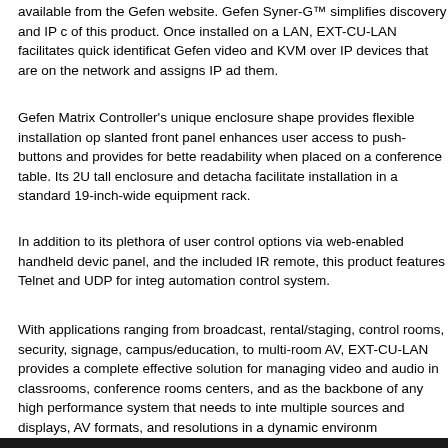available from the Gefen website. Gefen Syner-G™ simplifies discovery and IP configuration of this product. Once installed on a LAN, EXT-CU-LAN facilitates quick identification of all Gefen video and KVM over IP devices that are on the network and assigns IP addresses to them.
Gefen Matrix Controller's unique enclosure shape provides flexible installation options. Its slanted front panel enhances user access to push-buttons and provides for better readability when placed on a conference table. Its 2U tall enclosure and detachable ears facilitate installation in a standard 19-inch-wide equipment rack.
In addition to its plethora of user control options via web-enabled handheld devices, front panel, and the included IR remote, this product features Telnet and UDP for integration with any automation control system.
With applications ranging from broadcast, rental/staging, control rooms, security, digital signage, campus/education, to multi-room AV, EXT-CU-LAN provides a complete and cost-effective solution for managing video and audio in classrooms, conference rooms, command centers, and as the backbone of any high performance system that needs to integrate multiple sources and displays, AV formats, and resolutions in a dynamic environment.